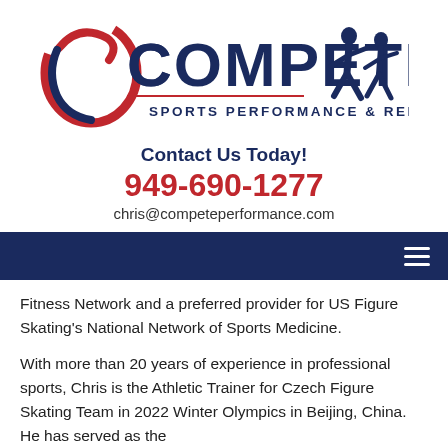[Figure (logo): Compete Sports Performance & Rehab logo with red swoosh, dark blue bold text COMPETE, silhouette of two runners, and tagline SPORTS PERFORMANCE & REHAB]
Contact Us Today!
949-690-1277
chris@competeperformance.com
[Figure (other): Dark navy blue navigation bar with hamburger menu icon (three horizontal white lines) on the right side]
Fitness Network and a preferred provider for US Figure Skating’s National Network of Sports Medicine.
With more than 20 years of experience in professional sports, Chris is the Athletic Trainer for Czech Figure Skating Team in 2022 Winter Olympics in Beijing, China. He has served as the